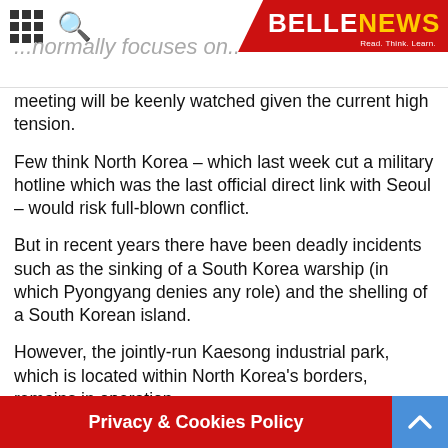BELLENEWS
meeting will be keenly watched given the current high tension.
Few think North Korea – which last week cut a military hotline which was the last official direct link with Seoul – would risk full-blown conflict.
But in recent years there have been deadly incidents such as the sinking of a South Korea warship (in which Pyongyang denies any role) and the shelling of a South Korean island.
However, the jointly-run Kaesong industrial park, which is located within North Korea's borders, remains in operation.
Workers from South Korea were crossing into the park – which is a key money-maker for North Korea – as normal on Monday, reports said.
Kaesong Industrial Complex is seen as a barometer of North-South tensions, observers say, and a move to close it would be seen as an escalation of current tensions.